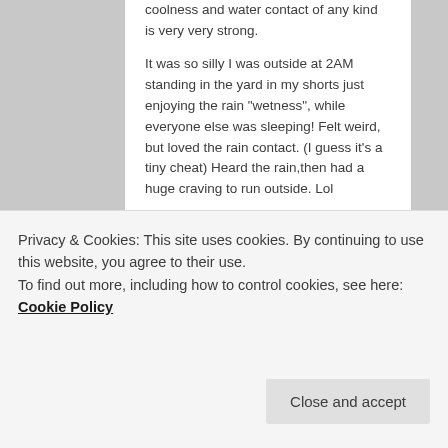coolness and water contact of any kind is very very strong.
It was so silly I was outside at 2AM standing in the yard in my shorts just enjoying the rain “wetness”, while everyone else was sleeping! Felt weird, but loved the rain contact. (I guess it’s a tiny cheat) Heard the rain,then had a huge craving to run outside. Lol
★ Like
Reply ↓
Privacy & Cookies: This site uses cookies. By continuing to use this website, you agree to their use.
To find out more, including how to control cookies, see here: Cookie Policy
Close and accept
experience as well. It’s quite